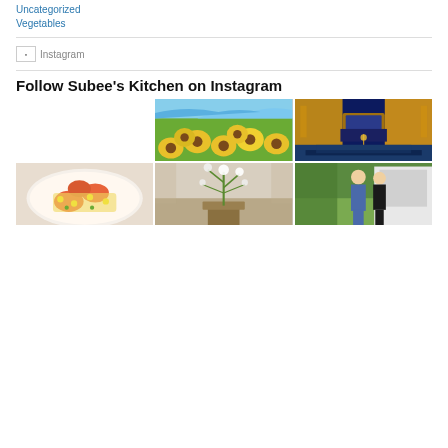Uncategorized
Vegetables
[Figure (other): Broken Instagram image placeholder with alt text 'Instagram']
Follow Subee's Kitchen on Instagram
[Figure (photo): Field of sunflowers with mountains and blue sky in background]
[Figure (photo): Bridge of Sighs Venice at night, lit up with deep blue sky]
[Figure (photo): Plate of shrimp and corn succotash dish]
[Figure (photo): Interior room with floral arrangement in wooden box on table]
[Figure (photo): Young man in suit and woman in blue dress standing outside white building]